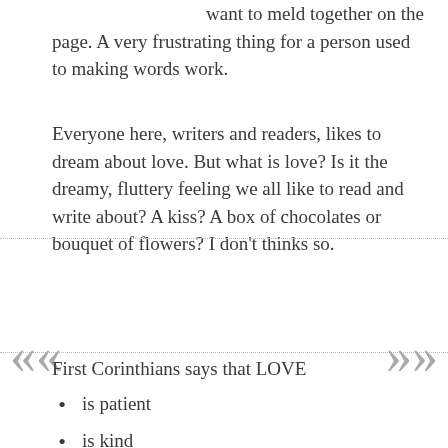want to meld together on the page. A very frustrating thing for a person used to making words work.
Everyone here, writers and readers, likes to dream about love. But what is love? Is it the dreamy, fluttery feeling we all like to read and write about? A kiss? A box of chocolates or bouquet of flowers? I don't thinks so.
First Corinthians says that LOVE
is patient
is kind
is not jealous
is not boastful